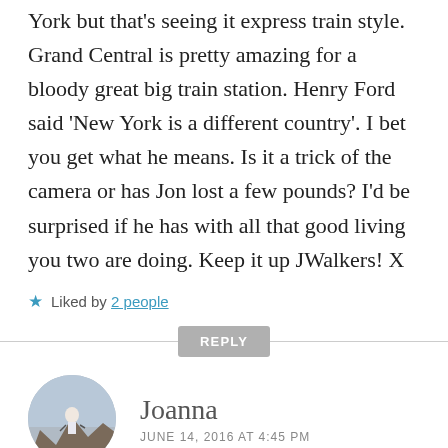York but that's seeing it express train style. Grand Central is pretty amazing for a bloody great big train station. Henry Ford said 'New York is a different country'. I bet you get what he means. Is it a trick of the camera or has Jon lost a few pounds? I'd be surprised if he has with all that good living you two are doing. Keep it up JWalkers! X
★ Liked by 2 people
REPLY
Joanna
JUNE 14, 2016 AT 4:45 PM